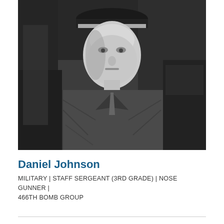[Figure (photo): Black and white photograph of Daniel Johnson, a military staff sergeant, wearing a uniform and garrison cap, looking directly at the camera. The photo appears to be from World War II era.]
Daniel Johnson
MILITARY | STAFF SERGEANT (3RD GRADE) | NOSE GUNNER | 466TH BOMB GROUP